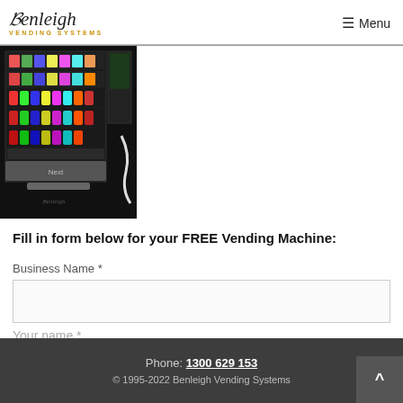Benleigh Vending Systems — Menu
[Figure (photo): A black vending machine stocked with snacks and drinks, front view showing multiple rows of products.]
Fill in form below for your FREE Vending Machine:
Business Name *
Your name *
Phone: 1300 629 153
© 1995-2022 Benleigh Vending Systems